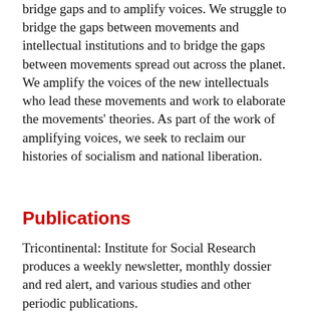bridge gaps and to amplify voices. We struggle to bridge the gaps between movements and intellectual institutions and to bridge the gaps between movements spread out across the planet. We amplify the voices of the new intellectuals who lead these movements and work to elaborate the movements' theories. As part of the work of amplifying voices, we seek to reclaim our histories of socialism and national liberation.
Publications
Tricontinental: Institute for Social Research produces a weekly newsletter, monthly dossier and red alert, and various studies and other periodic publications.
Our work is rooted in the principle of hope: we believe that we do not have the right to be